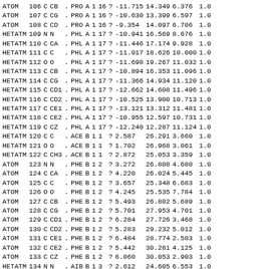| ATOM | 106 | C | CB | . | PRO | A | 1 | 16 | ? | -11.715 | 14.349 | 6.376 | 1.0 |
| ATOM | 107 | C | CG | . | PRO | A | 1 | 16 | ? | -10.630 | 13.399 | 6.597 | 1.0 |
| ATOM | 108 | C | CD | . | PRO | A | 1 | 16 | ? | -9.354 | 14.097 | 6.706 | 1.0 |
| HETATM | 109 | N | N | . | PHL | A | 1 | 17 | ? | -10.941 | 16.569 | 8.676 | 1.0 |
| HETATM | 110 | C | CA | . | PHL | A | 1 | 17 | ? | -11.446 | 17.174 | 9.928 | 1.0 |
| HETATM | 111 | C | C | . | PHL | A | 1 | 17 | ? | -11.017 | 18.626 | 10.000 | 1.0 |
| HETATM | 112 | O | O | . | PHL | A | 1 | 17 | ? | -11.698 | 19.267 | 11.032 | 1.0 |
| HETATM | 113 | C | CB | . | PHL | A | 1 | 17 | ? | -10.894 | 16.353 | 11.096 | 1.0 |
| HETATM | 114 | C | CG | . | PHL | A | 1 | 17 | ? | -11.366 | 14.934 | 11.120 | 1.0 |
| HETATM | 115 | C | CD1 | . | PHL | A | 1 | 17 | ? | -12.662 | 14.608 | 11.496 | 1.0 |
| HETATM | 116 | C | CD2 | . | PHL | A | 1 | 17 | ? | -10.525 | 13.900 | 10.713 | 1.0 |
| HETATM | 117 | C | CE1 | . | PHL | A | 1 | 17 | ? | -13.121 | 13.312 | 11.481 | 1.0 |
| HETATM | 118 | C | CE2 | . | PHL | A | 1 | 17 | ? | -10.955 | 12.597 | 10.731 | 1.0 |
| HETATM | 119 | C | CZ | . | PHL | A | 1 | 17 | ? | -12.240 | 12.287 | 11.124 | 1.0 |
| HETATM | 120 | C | C | . | ACE | B | 1 | 1 | ? | 2.587 | 26.291 | 3.660 | 1.0 |
| HETATM | 121 | O | O | . | ACE | B | 1 | 1 | ? | 1.702 | 26.968 | 3.061 | 1.0 |
| HETATM | 122 | C | CH3 | . | ACE | B | 1 | 1 | ? | 2.872 | 25.053 | 3.359 | 1.0 |
| ATOM | 123 | N | N | . | PHE | B | 1 | 2 | ? | 3.272 | 26.808 | 4.680 | 1.0 |
| ATOM | 124 | C | CA | . | PHE | B | 1 | 2 | ? | 4.220 | 26.024 | 5.445 | 1.0 |
| ATOM | 125 | C | C | . | PHE | B | 1 | 2 | ? | 3.657 | 25.348 | 6.683 | 1.0 |
| ATOM | 126 | O | O | . | PHE | B | 1 | 2 | ? | 4.245 | 25.535 | 7.784 | 1.0 |
| ATOM | 127 | C | CB | . | PHE | B | 1 | 2 | ? | 5.493 | 26.802 | 5.689 | 1.0 |
| ATOM | 128 | C | CG | . | PHE | B | 1 | 2 | ? | 5.701 | 27.953 | 4.701 | 1.0 |
| ATOM | 129 | C | CD1 | . | PHE | B | 1 | 2 | ? | 6.284 | 27.726 | 3.468 | 1.0 |
| ATOM | 130 | C | CD2 | . | PHE | B | 1 | 2 | ? | 5.283 | 29.232 | 5.012 | 1.0 |
| ATOM | 131 | C | CE1 | . | PHE | B | 1 | 2 | ? | 6.484 | 28.774 | 2.583 | 1.0 |
| ATOM | 132 | C | CE2 | . | PHE | B | 1 | 2 | ? | 5.442 | 30.281 | 4.125 | 1.0 |
| ATOM | 133 | C | CZ | . | PHE | B | 1 | 2 | ? | 6.060 | 30.053 | 2.903 | 1.0 |
| HETATM | 134 | N | N | . | AIB | B | 1 | 3 | ? | 2.612 | 24.605 | 6.553 | 1.0 |
| HETATM | 135 | C | CA | . | AIB | B | 1 | 3 | ? | 1.780 | 23.730 | 7.269 | 1.0 |